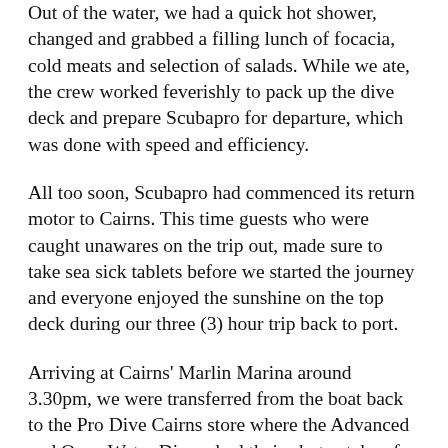Out of the water, we had a quick hot shower, changed and grabbed a filling lunch of focacia, cold meats and selection of salads. While we ate, the crew worked feverishly to pack up the dive deck and prepare Scubapro for departure, which was done with speed and efficiency.
All too soon, Scubapro had commenced its return motor to Cairns. This time guests who were caught unawares on the trip out, made sure to take sea sick tablets before we started the journey and everyone enjoyed the sunshine on the top deck during our three (3) hour trip back to port.
Arriving at Cairns' Marlin Marina around 3.30pm, we were transferred from the boat back to the Pro Dive Cairns store where the Advanced and Open Water Divers had their photos taken for license purposes and outstanding paperwork and accounts were completed. Complimentary coach transfers were provided to guests and everyone was invited to meet up for a